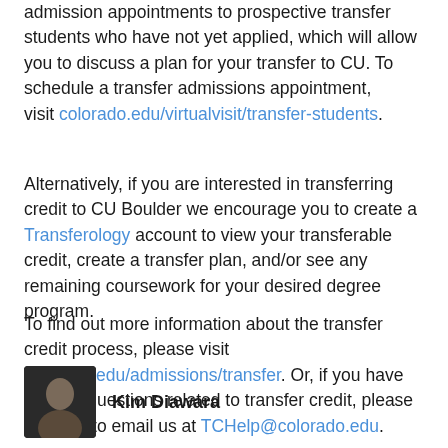admission appointments to prospective transfer students who have not yet applied, which will allow you to discuss a plan for your transfer to CU. To schedule a transfer admissions appointment, visit colorado.edu/virtualvisit/transfer-students.
Alternatively, if you are interested in transferring credit to CU Boulder we encourage you to create a Transferology account to view your transferable credit, create a transfer plan, and/or see any remaining coursework for your desired degree program.
To find out more information about the transfer credit process, please visit colorado.edu/admissions/transfer. Or, if you have specific questions related to transfer credit, please feel free to email us at TCHelp@colorado.edu.
Kim Diawara